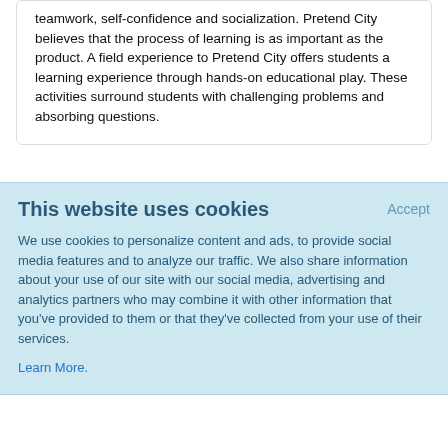teamwork, self-confidence and socialization. Pretend City believes that the process of learning is as important as the product. A field experience to Pretend City offers students a learning experience through hands-on educational play. These activities surround students with challenging problems and absorbing questions.
This website uses cookies
Accept
We use cookies to personalize content and ads, to provide social media features and to analyze our traffic. We also share information about your use of our site with our social media, advertising and analytics partners who may combine it with other information that you've provided to them or that they've collected from your use of their services.
Learn More.